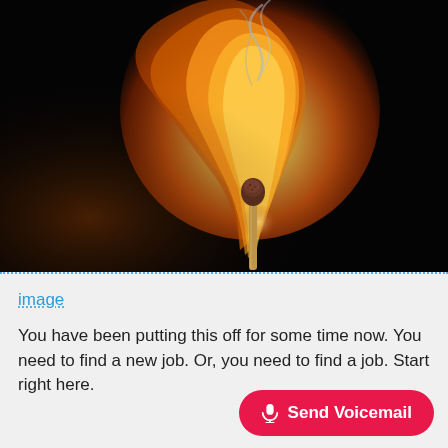[Figure (photo): Close-up macro photograph of a wooden match with a dark brown head against a black background, with a large orange flame and blue-grey smoke rising above and curling to the left.]
image
You have been putting this off for some time now. You need to find a new job. Or, you need to find a job. Start right here.
Send Voicemail